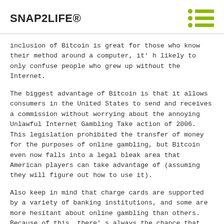SNAP2LIFE®
inclusion of Bitcoin is great for those who know their method around a computer, it' h likely to only confuse people who grew up without the Internet.
The biggest advantage of Bitcoin is that it allows consumers in the United States to send and receives a commission without worrying about the annoying Unlawful Internet Gambling Take action of 2006. This legislation prohibited the transfer of money for the purposes of online gambling, but Bitcoin even now falls into a legal bleak area that American players can take advantage of (assuming they will figure out how to use it).
Also keep in mind that charge cards are supported by a variety of banking institutions, and some are more hesitant about online gambling than others. Because of this, there' s always the chance that your credit card